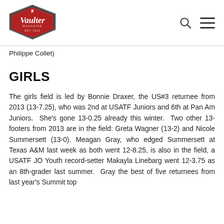Vaulter Magazine logo, search icon, menu icon
Philippe Collet)
GIRLS
The girls field is led by Bonnie Draxer, the US#3 returnee from 2013 (13-7.25), who was 2nd at USATF Juniors and 6th at Pan Am Juniors.  She’s gone 13-0.25 already this winter.  Two other 13-footers from 2013 are in the field: Greta Wagner (13-2) and Nicole Summersett (13-0). Meagan Gray, who edged Summersett at Texas A&M last week as both went 12-8.25, is also in the field, as USATF JO Youth record-setter Makayla Linebarg went 12-3.75 as an 8th-grader last summer.  Gray the best of five returnees from last year’s Summit top